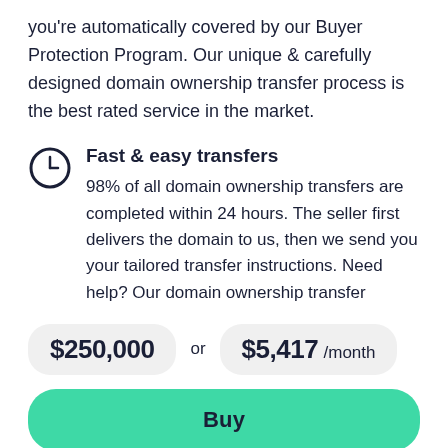you're automatically covered by our Buyer Protection Program. Our unique & carefully designed domain ownership transfer process is the best rated service in the market.
Fast & easy transfers
98% of all domain ownership transfers are completed within 24 hours. The seller first delivers the domain to us, then we send you your tailored transfer instructions. Need help? Our domain ownership transfer
$250,000 or $5,417 /month
Buy